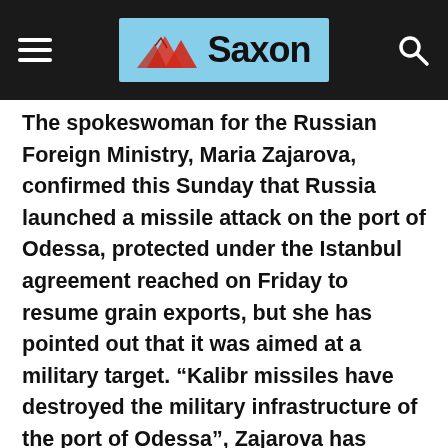Saxon
The spokeswoman for the Russian Foreign Ministry, Maria Zajarova, confirmed this Sunday that Russia launched a missile attack on the port of Odessa, protected under the Istanbul agreement reached on Friday to resume grain exports, but she has pointed out that it was aimed at a military target. “Kalibr missiles have destroyed the military infrastructure of the port of Odessa”, Zajarova has made known on her Telegram account, where she explained that the attacks were aimed at a “Ukrainian military ship”, which was hit in this “high-precision” bombardment. ;n”. The attack against the port of Odesa was received between the concern of Turkey, guarantor of the agreement, and the condemnation of the United States, the European Union, the United Nations and Ukraine itself, which denounced